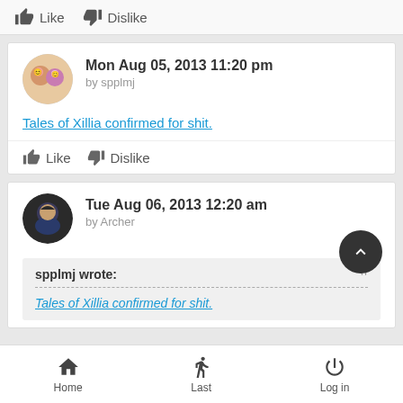Like  Dislike
Mon Aug 05, 2013 11:20 pm
by spplmj
Tales of Xillia confirmed for shit.
Like  Dislike
Tue Aug 06, 2013 12:20 am
by Archer
spplmj wrote:
Tales of Xillia confirmed for shit.
Home  Last  Log in